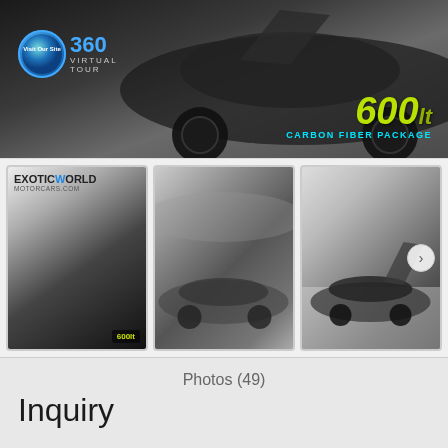[Figure (photo): Top banner showing a dark McLaren 600LT sports car with dihedral doors open, gray background. Overlay shows '360 Virtual Tour' badge on left and '600lt Carbon Fiber Package' text on right in lime green and cyan colors.]
[Figure (photo): Thumbnail strip showing three images of a gray McLaren 600LT: first thumbnail has ExoticWorld Motorcars logo overlay; second shows the car parked near a private jet; third shows the car with doors open in a white hangar.]
Photos (49)
Inquiry
First Name: *
Last Name: *